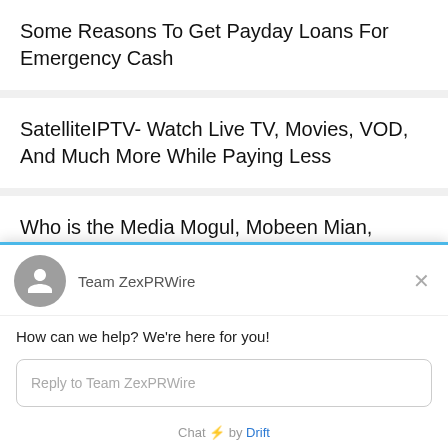Some Reasons To Get Payday Loans For Emergency Cash
SatelliteIPTV- Watch Live TV, Movies, VOD, And Much More While Paying Less
Who is the Media Mogul, Mobeen Mian, Speaking on Collaboration?
Ventures continues to invest in the
Team ZexPRWire
How can we help? We're here for you!
Reply to Team ZexPRWire
Chat ⚡ by Drift